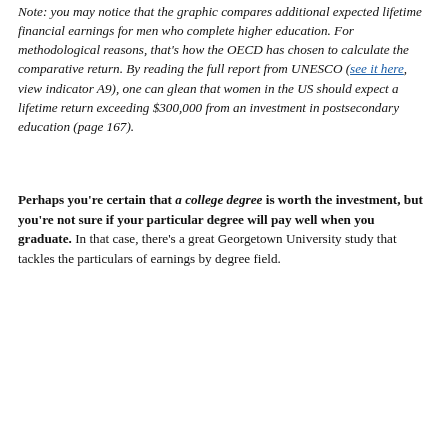Note: you may notice that the graphic compares additional expected lifetime financial earnings for men who complete higher education. For methodological reasons, that's how the OECD has chosen to calculate the comparative return. By reading the full report from UNESCO (see it here, view indicator A9), one can glean that women in the US should expect a lifetime return exceeding $300,000 from an investment in postsecondary education (page 167).
Perhaps you're certain that a college degree is worth the investment, but you're not sure if your particular degree will pay well when you graduate. In that case, there's a great Georgetown University study that tackles the particulars of earnings by degree field.